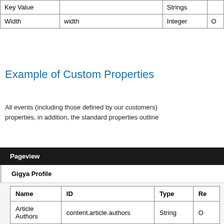| Name | ID | Type | Re... |
| --- | --- | --- | --- |
| Key Value |  | Strings |  |
| Width | width | Integer |  |
Example of Custom Properties
All events (including those defined by our customers) properties, in addition, the standard properties outline
| Name | ID | Type | Re... |
| --- | --- | --- | --- |
| Pageview |  |  |  |
| Gigya Profile |  |  |  |
| Article Authors | content.article.authors | String | O |
| Article | content.article.category | Stri... |  |